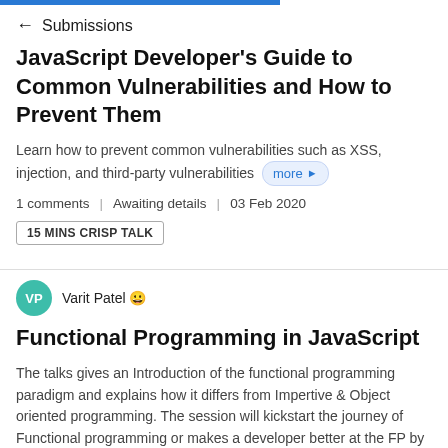← Submissions
JavaScript Developer's Guide to Common Vulnerabilities and How to Prevent Them
Learn how to prevent common vulnerabilities such as XSS, injection, and third-party vulnerabilities more ▶
1 comments | Awaiting details | 03 Feb 2020
15 MINS CRISP TALK
Varit Patel 😊
Functional Programming in JavaScript
The talks gives an Introduction of the functional programming paradigm and explains how it differs from Impertive & Object oriented programming. The session will kickstart the journey of Functional programming or makes a developer better at the FP by understanding the pattern more deeply. It covers some of the principles of coding such as DRY (Don't repeat yourself),